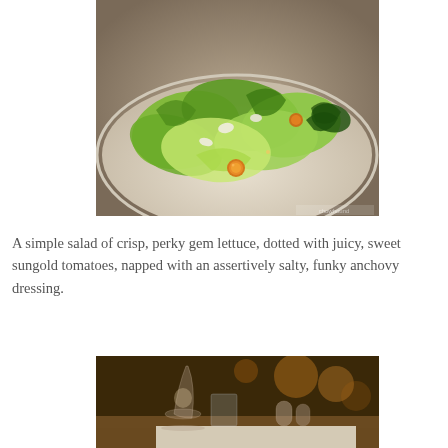[Figure (photo): Close-up photo of a salad with crisp gem lettuce leaves and bright orange sungold tomatoes on a round white plate, restaurant setting]
A simple salad of crisp, perky gem lettuce, dotted with juicy, sweet sungold tomatoes, napped with an assertively salty, funky anchovy dressing.
[Figure (photo): Atmospheric low-light restaurant photo showing a wine glass, water glass, and other tableware on a white tablecloth with warm bokeh lighting in the background]